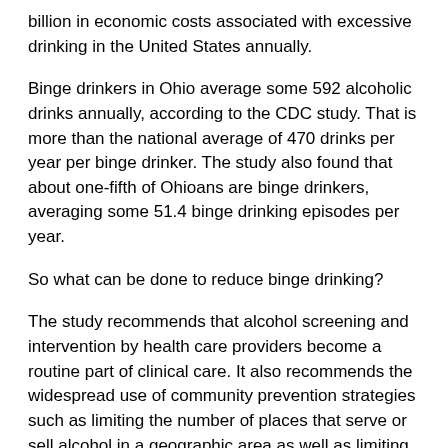billion in economic costs associated with excessive drinking in the United States annually.
Binge drinkers in Ohio average some 592 alcoholic drinks annually, according to the CDC study. That is more than the national average of 470 drinks per year per binge drinker. The study also found that about one-fifth of Ohioans are binge drinkers, averaging some 51.4 binge drinking episodes per year.
So what can be done to reduce binge drinking?
The study recommends that alcohol screening and intervention by health care providers become a routine part of clinical care. It also recommends the widespread use of community prevention strategies such as limiting the number of places that serve or sell alcohol in a geographic area as well as limiting the days and hours for alcohol sales.
Chow Line is a service of the College of Food, Agricultural,